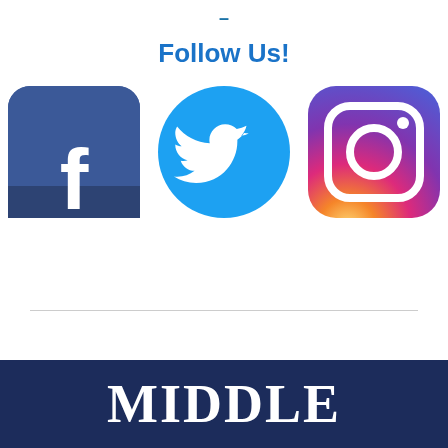–
Follow Us!
[Figure (logo): Three social media logos: Facebook (blue rounded square with white 'f'), Twitter (light blue circle with white bird), Instagram (rounded square with gradient purple-pink-orange and white camera icon)]
Register to Vote!
MIDDLE